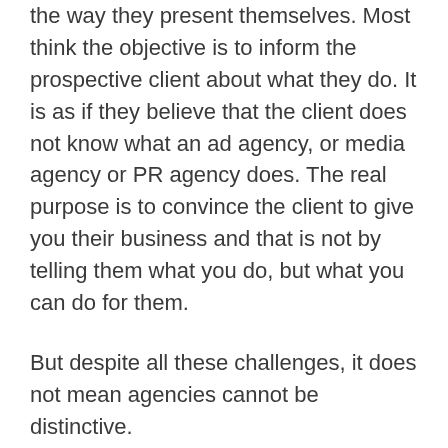the way they present themselves. Most think the objective is to inform the prospective client about what they do. It is as if they believe that the client does not know what an ad agency, or media agency or PR agency does. The real purpose is to convince the client to give you their business and that is not by telling them what you do, but what you can do for them.
But despite all these challenges, it does not mean agencies cannot be distinctive.
You may think this is just semantics. You may believe that different and distinctive are synonyms of each other. The fact is it is more effective being consistently distinctive than it is trying to be just...